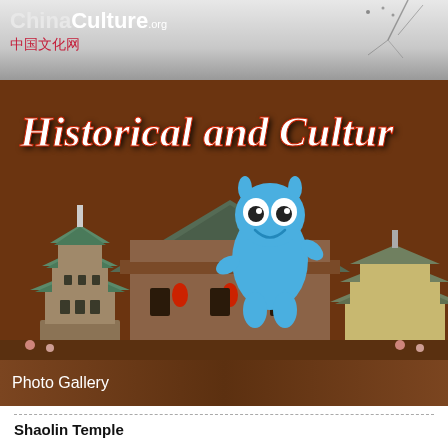[Figure (screenshot): ChinaCulture.org website header with logo showing 'ChinaCulture.org' in English and Chinese characters '中国文化网', set against a grey gradient background with tree branches]
[Figure (illustration): Banner image with brown/chocolate background showing text 'Historical and Cultur' (cropped), Chinese pagoda architecture buildings on left and right, and a blue cartoon mascot character with big eyes in the center]
Photo Gallery
Shaolin Temple
Shaolin Temple in Dengfeng County, Henan Province, is known in a